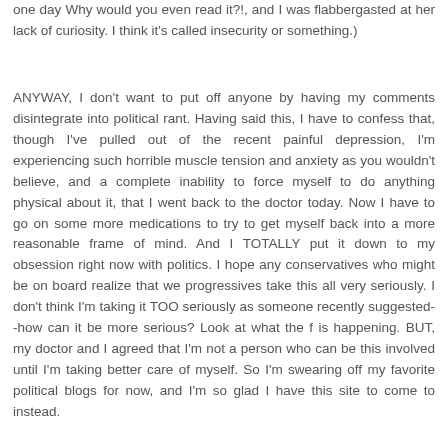one day Why would you even read it?!, and I was flabbergasted at her lack of curiosity. I think it's called insecurity or something.)
ANYWAY, I don't want to put off anyone by having my comments disintegrate into political rant. Having said this, I have to confess that, though I've pulled out of the recent painful depression, I'm experiencing such horrible muscle tension and anxiety as you wouldn't believe, and a complete inability to force myself to do anything physical about it, that I went back to the doctor today. Now I have to go on some more medications to try to get myself back into a more reasonable frame of mind. And I TOTALLY put it down to my obsession right now with politics. I hope any conservatives who might be on board realize that we progressives take this all very seriously. I don't think I'm taking it TOO seriously as someone recently suggested--how can it be more serious? Look at what the f is happening. BUT, my doctor and I agreed that I'm not a person who can be this involved until I'm taking better care of myself. So I'm swearing off my favorite political blogs for now, and I'm so glad I have this site to come to instead.